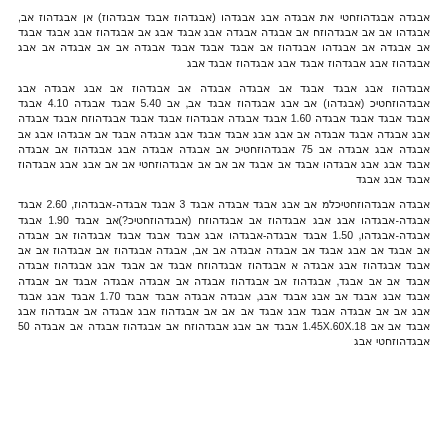Hebrew/Arabic script paragraph 1 with numbers and parenthetical content
Hebrew/Arabic script paragraph 2 mentioning values 5.40, 4.10, 1.60, 75
Hebrew/Arabic script paragraph 3 mentioning values 3, 2.60, 1.90, 1.50, 1.70, 1.45X.60X.18, 50